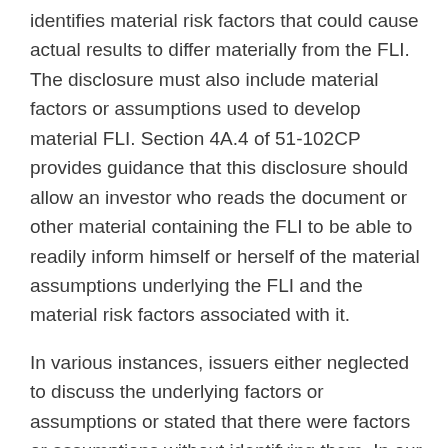identifies material risk factors that could cause actual results to differ materially from the FLI. The disclosure must also include material factors or assumptions used to develop material FLI. Section 4A.4 of 51-102CP provides guidance that this disclosure should allow an investor who reads the document or other material containing the FLI to be able to readily inform himself or herself of the material assumptions underlying the FLI and the material risk factors associated with it.
In various instances, issuers either neglected to discuss the underlying factors or assumptions or stated that there were factors or assumptions without identifying them. In our view, this practice does not comply with section 4A.3 of the Rule.
b)  Incorporation by reference of relevant material